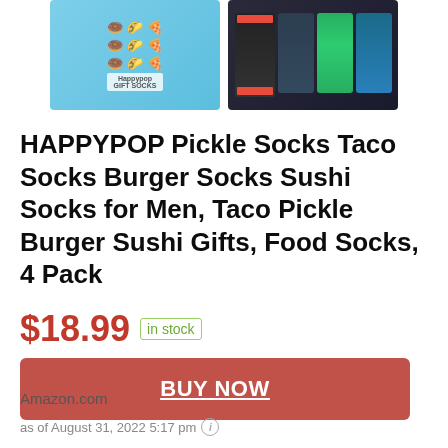[Figure (photo): Two product images of HAPPYPOP sock gift sets. Left: light blue box with food-themed illustrated socks (donuts, tacos, pizza). Right: dark box showing colorful food-themed socks.]
HAPPYPOP Pickle Socks Taco Socks Burger Socks Sushi Socks for Men, Taco Pickle Burger Sushi Gifts, Food Socks, 4 Pack
$18.99  in stock
BUY NOW
Amazon.com
as of August 31, 2022 5:17 pm ℹ